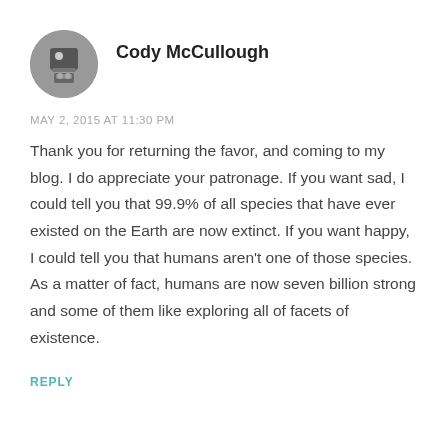[Figure (photo): Circular avatar photo of Cody McCullough, showing a person or object in grey tones]
Cody McCullough
MAY 2, 2015 AT 11:30 PM
Thank you for returning the favor, and coming to my blog. I do appreciate your patronage. If you want sad, I could tell you that 99.9% of all species that have ever existed on the Earth are now extinct. If you want happy, I could tell you that humans aren't one of those species. As a matter of fact, humans are now seven billion strong and some of them like exploring all of facets of existence.
REPLY